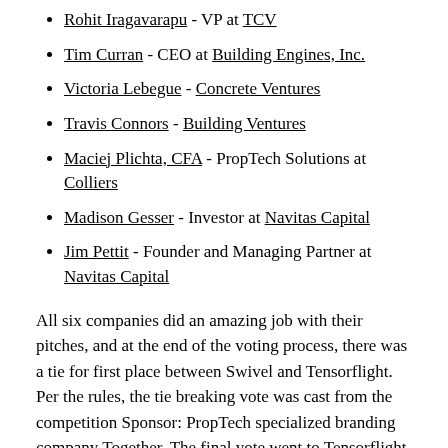Rohit Iragavarapu - VP at TCV
Tim Curran - CEO at Building Engines, Inc.
Victoria Lebegue - Concrete Ventures
Travis Connors - Building Ventures
Maciej Plichta, CFA - PropTech Solutions at Colliers
Madison Gesser - Investor at Navitas Capital
Jim Pettit - Founder and Managing Partner at Navitas Capital
All six companies did an amazing job with their pitches, and at the end of the voting process, there was a tie for first place between Swivel and Tensorflight. Per the rules, the tie breaking vote was cast from the competition Sponsor: PropTech specialized branding company Together. The final vote went to Tensorflight.